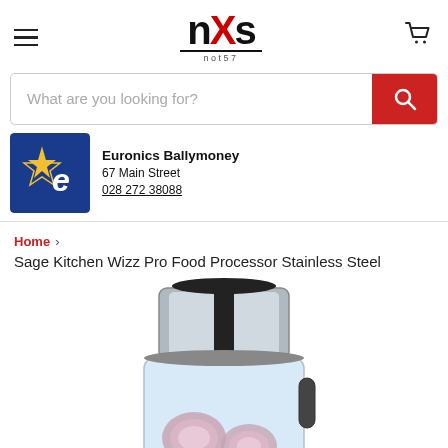[Figure (logo): nXs logo with red X, underline and 'not57' text]
What are you looking for?
[Figure (logo): Euronics logo — blue square with star and letter e]
Euronics Ballymoney
67 Main Street
028 272 38088
Home › Sage Kitchen Wizz Pro Food Processor Stainless Steel
[Figure (photo): Sage Kitchen Wizz Pro Food Processor in stainless steel, showing the motor unit and clear bowl with sliced onions inside]